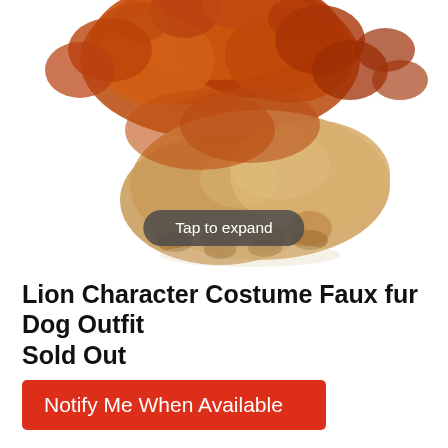[Figure (photo): A small fluffy dog wearing a lion mane costume, photographed from above/behind on white background]
Tap to expand
Lion Character Costume Faux fur Dog Outfit
Sold Out
Notify Me When Available
Description
Lion Character Costume Faux fur